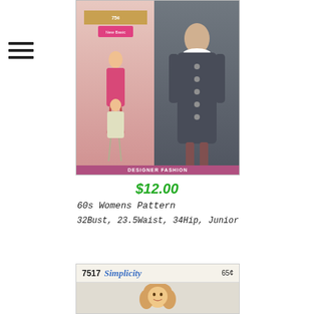[Figure (photo): Vintage 1960s sewing pattern envelope showing women in dresses and coat, labeled 'Designer Fashion', price 75 cents]
$12.00
60s Womens Pattern
32Bust, 23.5Waist, 34Hip, Junior
[Figure (photo): Simplicity pattern #7517 priced at 65 cents, showing a girl figure on the cover]